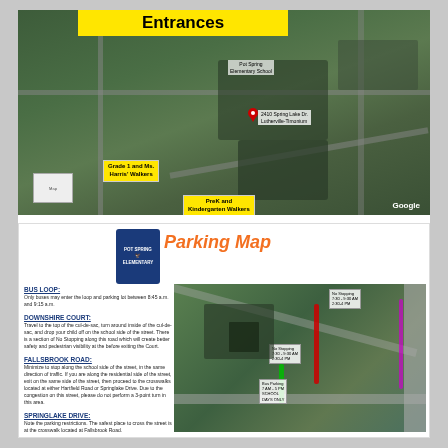Entrances
[Figure (map): Aerial satellite map of Pot Spring Elementary School showing entrances. Yellow labels indicate 'Grade 1 and Ms. Harris' Walkers' and 'PreK and Kindergarten Walkers'. Red location pin visible. Google watermark in lower right.]
[Figure (map): Pot Spring Elementary Parking Map. Shows school logo/crest. Includes labeled sections: BUS LOOP, DOWNSHIRE COURT, FALLSBROOK ROAD, SPRINGLAKE DRIVE with descriptions of drop-off/parking procedures. Aerial map on right side with color-coded parking zones and No Stopping/No Parking annotations.]
BUS LOOP:
Only buses may enter the loop and parking lot between 8:45 a.m. and 9:15 a.m.
DOWNSHIRE COURT:
Travel to the top of the cul-de-sac, turn around inside of the cul-de-sac, and drop your child off on the school side of the street. There is a section of No Stopping along this road which will create better safety and pedestrian visibility at the before exiting the Court.
FALLSBROOK ROAD:
Minimize to stop along the school side of the street, in the same direction of traffic. If you are along the residential side of the street, exit on the same side of the street, then proceed to the crosswalks located at either Hartfield Road or Springlake Drive. Due to the congestion on this street, please do not perform a 3-point turn in this area.
SPRINGLAKE DRIVE:
Note the parking restrictions. The safest place to cross the street is at the crosswalk located at Fallsbrook Road.